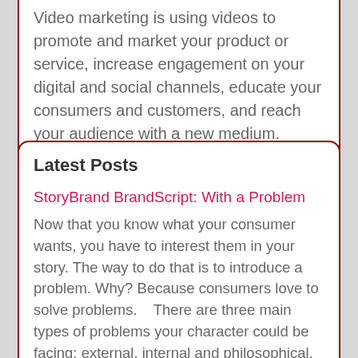Video marketing is using videos to promote and market your product or service, increase engagement on your digital and social channels, educate your consumers and customers, and reach your audience with a new medium.
Latest Posts
StoryBrand BrandScript: With a Problem
Now that you know what your consumer wants, you have to interest them in your story. The way to do that is to introduce a problem. Why? Because consumers love to solve problems.   There are three main types of problems your character could be facing: external, internal and philosophical.
Read More »
Startup PR: Understanding